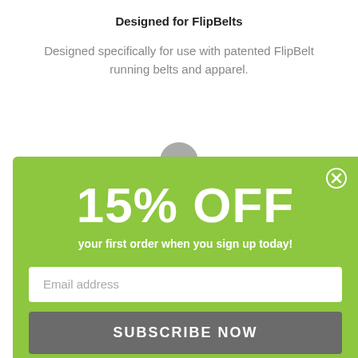Designed for FlipBelts
Designed specifically for use with patented FlipBelt running belts and apparel.
[Figure (screenshot): Green promotional popup overlay with '15% OFF' offer, email input field, and 'SUBSCRIBE NOW' button, with a close (X) button in the top-right corner]